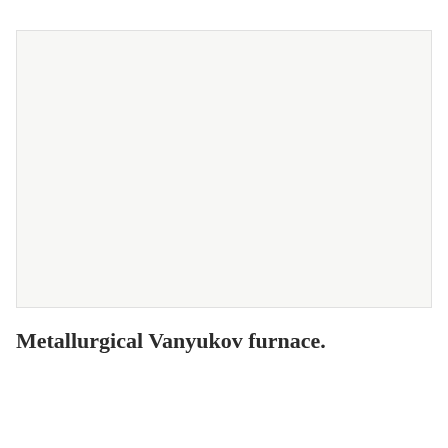[Figure (photo): A large light gray rectangular image placeholder representing a photograph of a Metallurgical Vanyukov furnace.]
Metallurgical Vanyukov furnace.